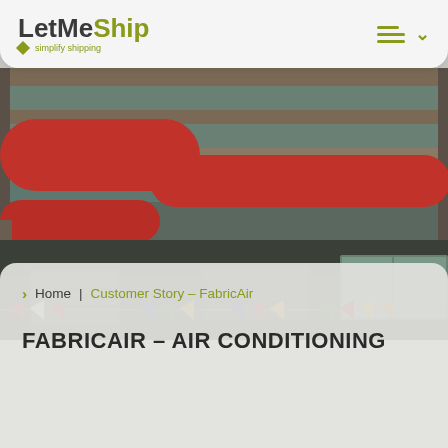LetMeShip – simplify shipping
[Figure (photo): Interior of an industrial warehouse or sports facility showing red fabric air distribution ducts running along the ceiling, metal roof structure, and colorful pennant flags strung along the bottom.]
Home | Customer Story – FabricAir
FABRICAIR – AIR CONDITIONING